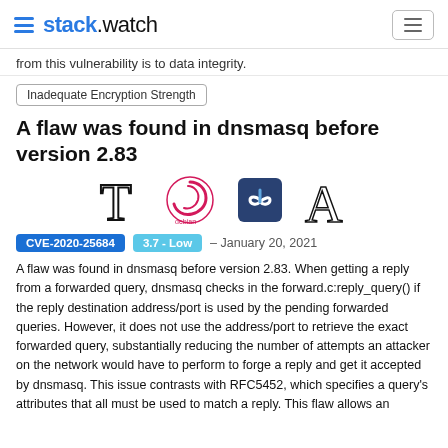stack.watch
from this vulnerability is to data integrity.
Inadequate Encryption Strength
A flaw was found in dnsmasq before version 2.83
[Figure (logo): Four OS/distro logos: T (Typo3?), Debian swirl logo, Fedora logo (blue circle with infinity), A (Arch Linux)]
CVE-2020-25684  3.7 - Low  – January 20, 2021
A flaw was found in dnsmasq before version 2.83. When getting a reply from a forwarded query, dnsmasq checks in the forward.c:reply_query() if the reply destination address/port is used by the pending forwarded queries. However, it does not use the address/port to retrieve the exact forwarded query, substantially reducing the number of attempts an attacker on the network would have to perform to forge a reply and get it accepted by dnsmasq. This issue contrasts with RFC5452, which specifies a query's attributes that all must be used to match a reply. This flaw allows an